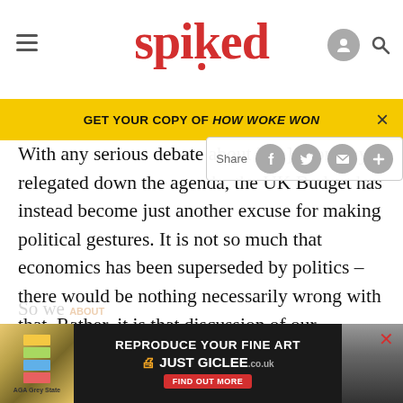spiked
GET YOUR COPY OF HOW WOKE WON
With any serious debate about [the] economy relegated down the agenda, the UK Budget has instead become just another excuse for making political gestures. It is not so much that economics has been superseded by politics – there would be nothing necessarily wrong with that. Rather, it is that discussion of our society's economic foundations has been personalised and trivialised in line with the rest of political debate today.
[Figure (screenshot): REPRODUCE YOUR FINE ART JUST GICLEE advertisement banner at bottom of page]